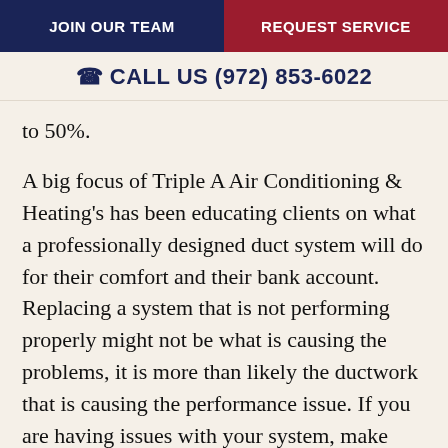JOIN OUR TEAM | REQUEST SERVICE
CALL US (972) 853-6022
to 50%.
A big focus of Triple A Air Conditioning & Heating's has been educating clients on what a professionally designed duct system will do for their comfort and their bank account. Replacing a system that is not performing properly might not be what is causing the problems, it is more than likely the ductwork that is causing the performance issue. If you are having issues with your system, make